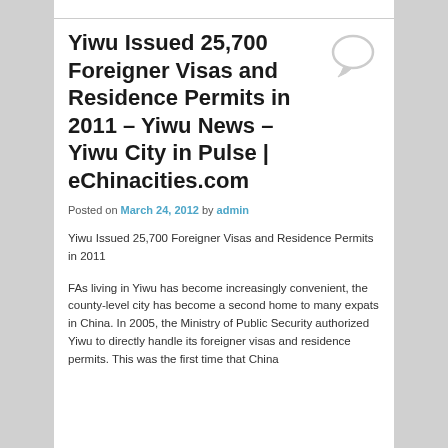Yiwu Issued 25,700 Foreigner Visas and Residence Permits in 2011 – Yiwu News – Yiwu City in Pulse | eChinacities.com
Posted on March 24, 2012 by admin
Yiwu Issued 25,700 Foreigner Visas and Residence Permits in 2011
FAs living in Yiwu has become increasingly convenient, the county-level city has become a second home to many expats in China. In 2005, the Ministry of Public Security authorized Yiwu to directly handle its foreigner visas and residence permits. This was the first time that China